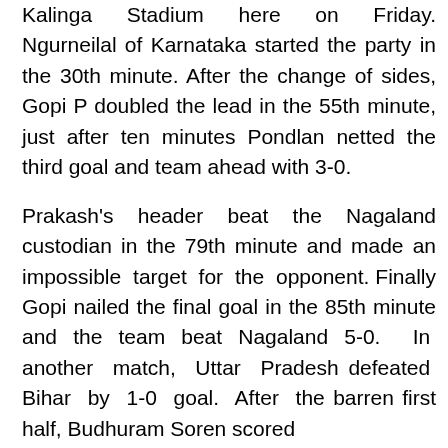Kalinga Stadium here on Friday. Ngurneilal of Karnataka started the party in the 30th minute. After the change of sides, Gopi P doubled the lead in the 55th minute, just after ten minutes Pondlan netted the third goal and team ahead with 3-0.
Prakash's header beat the Nagaland custodian in the 79th minute and made an impossible target for the opponent. Finally Gopi nailed the final goal in the 85th minute and the team beat Nagaland 5-0. In another match, Uttar Pradesh defeated Bihar by 1-0 goal. After the barren first half, Budhuram Soren scored